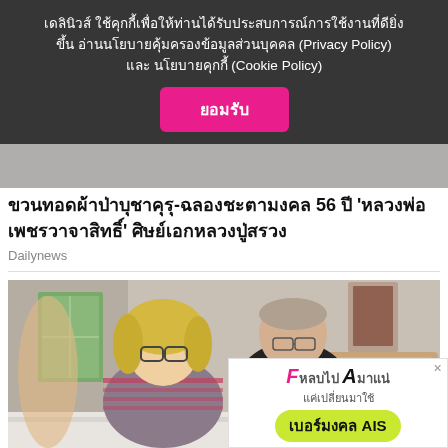เดลินิวส์ ใช้คุกกี้เพื่อให้ท่านได้รับประสบการณ์การใช้งานที่ดียิ่งขึ้น อ่านนโยบายคุ้มครองข้อมูลส่วนบุคคล (Privacy Policy) และ นโยบายคุกกี้ (Cookie Policy)
ยอมรับ
ขวนทอดผ้าป่าบุชาคุรุ-ฉลองชะตามงคล 56 ปี 'หลวงพ่อเพชรวาจาสิทธิ์' ศิษย์เอกหลวงปู่สรวง
Dailynews
[Figure (photo): Two elderly people (a woman with blonde hair and glasses wearing a striped top, and a man in a black shirt) standing in a bedroom with a wooden bed headboard visible]
[Figure (infographic): Advertisement banner for AIS lucky number service. Text: F หลบไป A มาแน่ แค่เปลี่ยนมาใช้ เบอร์มงคล AIS]